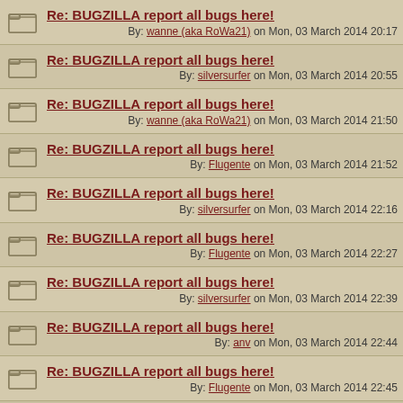Re: BUGZILLA report all bugs here! By: wanne (aka RoWa21) on Mon, 03 March 2014 20:17
Re: BUGZILLA report all bugs here! By: silversurfer on Mon, 03 March 2014 20:55
Re: BUGZILLA report all bugs here! By: wanne (aka RoWa21) on Mon, 03 March 2014 21:50
Re: BUGZILLA report all bugs here! By: Flugente on Mon, 03 March 2014 21:52
Re: BUGZILLA report all bugs here! By: silversurfer on Mon, 03 March 2014 22:16
Re: BUGZILLA report all bugs here! By: Flugente on Mon, 03 March 2014 22:27
Re: BUGZILLA report all bugs here! By: silversurfer on Mon, 03 March 2014 22:39
Re: BUGZILLA report all bugs here! By: anv on Mon, 03 March 2014 22:44
Re: BUGZILLA report all bugs here! By: Flugente on Mon, 03 March 2014 22:45